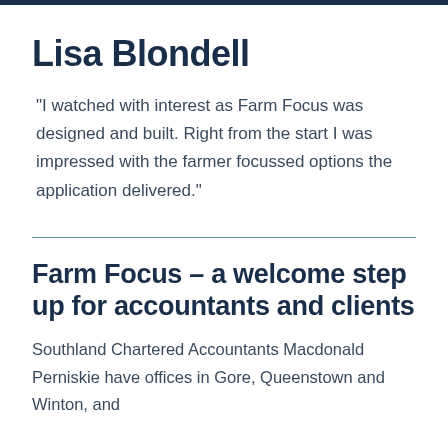Lisa Blondell
“I watched with interest as Farm Focus was designed and built. Right from the start I was impressed with the farmer focussed options the application delivered.”
Farm Focus – a welcome step up for accountants and clients
Southland Chartered Accountants Macdonald Perniskie have offices in Gore, Queenstown and Winton, and